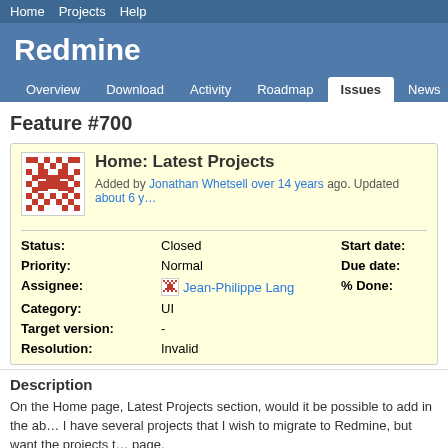Home  Projects  Help
Redmine
Overview  Download  Activity  Roadmap  Issues  News  W…
Feature #700
Home: Latest Projects
Added by Jonathan Whetsell over 14 years ago. Updated about 6 y…
| Label | Value | Label2 | Value2 |
| --- | --- | --- | --- |
| Status: | Closed | Start date: |  |
| Priority: | Normal | Due date: |  |
| Assignee: | Jean-Philippe Lang | % Done: |  |
| Category: | UI |  |  |
| Target version: | - |  |  |
| Resolution: | Invalid |  |  |
Description
On the Home page, Latest Projects section, would it be possible to add in the a… I have several projects that I wish to migrate to Redmine, but want the projects t… page.

It would be nice to have the latest project content section list the projects and su…